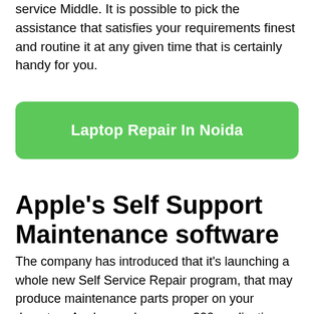service Middle. It is possible to pick the assistance that satisfies your requirements finest and routine it at any given time that is certainly handy for you.
[Figure (other): Green rounded rectangle button with white bold text: 'Laptop Repair In Noida']
Apple's Self Support Maintenance software
The company has introduced that it's launching a whole new Self Service Repair program, that may produce maintenance parts proper on your doorstep. Apple may have over 200 applications and pieces available to mend your apple iphone or iPad. Shoppers can even return used pieces for recycling and have retail store credits for long term purchases. Even so, Apple endorses that customers find Expert assist for